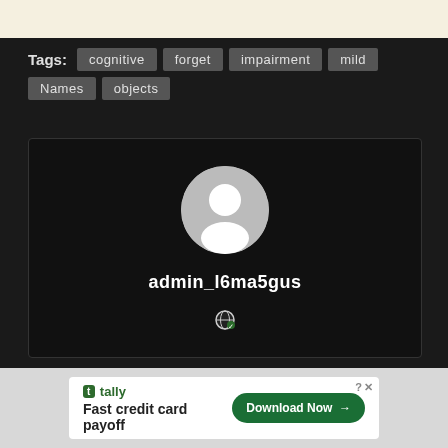[Figure (screenshot): Top banner area with cream/off-white background]
Tags: cognitive  forget  impairment  mild  Names  objects
[Figure (photo): User profile card with avatar placeholder, username admin_l6ma5gus, and globe icon on dark background]
[Figure (screenshot): Advertisement banner: Tally - Fast credit card payoff, Download Now button]